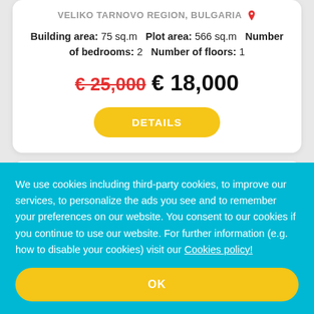VELIKO TARNOVO REGION, BULGARIA
Building area: 75 sq.m  Plot area: 566 sq.m  Number of bedrooms: 2  Number of floors: 1
€ 25,000  € 18,000
DETAILS
We use cookies including third-party cookies, to improve our services, to personalize the ads you see and to remember your preferences on our website. You consent to our cookies if you continue to use our website. For further information (e.g. how to disable your cookies) visit our Cookies policy!
OK